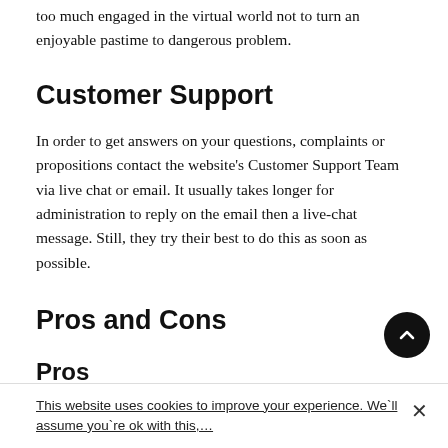too much engaged in the virtual world not to turn an enjoyable pastime to dangerous problem.
Customer Support
In order to get answers on your questions, complaints or propositions contact the website's Customer Support Team via live chat or email. It usually takes longer for administration to reply on the email then a live-chat message. Still, they try their best to do this as soon as possible.
Pros and Cons
Pros
This website uses cookies to improve your experience. We`ll assume you`re ok with this,…